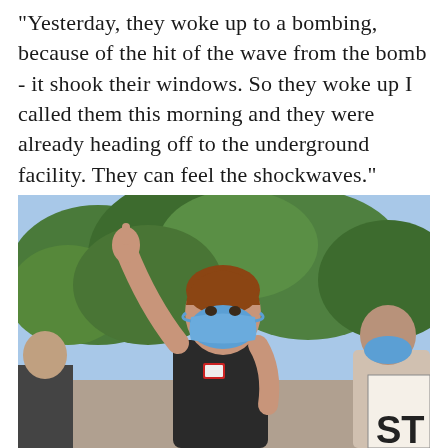"Yesterday, they woke up to a bombing, because of the hit of the wave from the bomb - it shook their windows. So they woke up I called them this morning and they were already heading off to the underground facility. They can feel the shockwaves."
[Figure (photo): A person wearing a blue face mask and black long-sleeve shirt raises their right fist/index finger in the air at an outdoor protest. Trees are visible in the background. Another person holding a sign with letters 'ST' is partially visible on the right edge.]